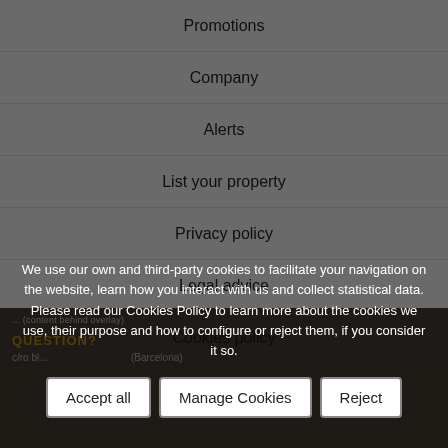Promotions
Company
Alerts
List your property
Privacy policy
Legal advice
Cookies policy
We use our own and third-party cookies to facilitate your navigation on the website, learn how you interact with us and collect statistical data. Please read our Cookies Policy to learn more about the cookies we use, their purpose and how to configure or reject them, if you consider it so.
Accept all | Manage Cookies | Reject
QUESTION?
c/ro bl... (Barcelona)